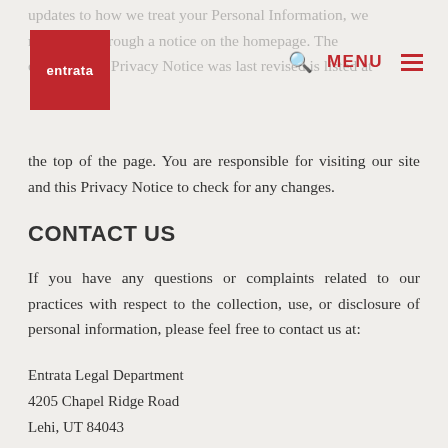Entrata logo and navigation header
the top of the page. You are responsible for visiting our site and this Privacy Notice to check for any changes.
CONTACT US
If you have any questions or complaints related to our practices with respect to the collection, use, or disclosure of personal information, please feel free to contact us at:
Entrata Legal Department
4205 Chapel Ridge Road
Lehi, UT 84043
dataprivacy@entrata.com